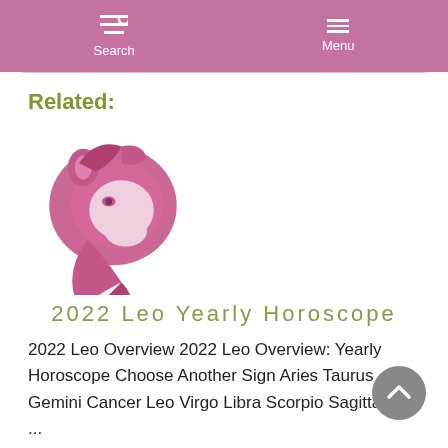Search  Menu
Related:
[Figure (illustration): Leo zodiac sign illustration — a stylized pink/magenta lion head]
2022 Leo Yearly Horoscope
2022 Leo Overview 2022 Leo Overview: Yearly Horoscope Choose Another Sign Aries Taurus Gemini Cancer Leo Virgo Libra Scorpio Sagittarius ...
Read More